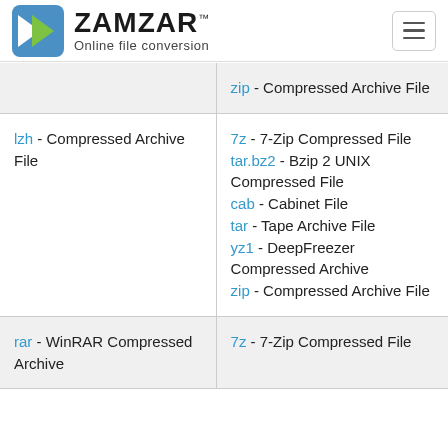ZAMZAR™ Online file conversion
| From | To |
| --- | --- |
|  | zip - Compressed Archive File |
| lzh - Compressed Archive File | 7z - 7-Zip Compressed File
tar.bz2 - Bzip 2 UNIX Compressed File
cab - Cabinet File
tar - Tape Archive File
yz1 - DeepFreezer Compressed Archive
zip - Compressed Archive File |
| rar - WinRAR Compressed Archive | 7z - 7-Zip Compressed File |